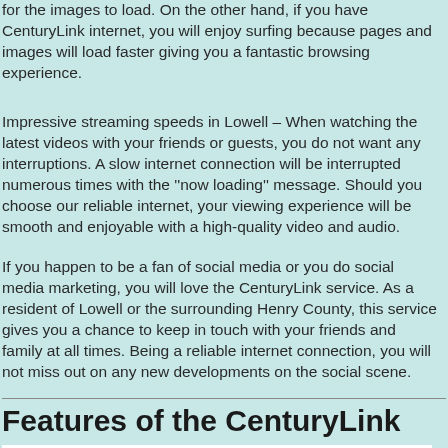for the images to load. On the other hand, if you have CenturyLink internet, you will enjoy surfing because pages and images will load faster giving you a fantastic browsing experience.
Impressive streaming speeds in Lowell – When watching the latest videos with your friends or guests, you do not want any interruptions. A slow internet connection will be interrupted numerous times with the ''now loading'' message. Should you choose our reliable internet, your viewing experience will be smooth and enjoyable with a high-quality video and audio.
If you happen to be a fan of social media or you do social media marketing, you will love the CenturyLink service. As a resident of Lowell or the surrounding Henry County, this service gives you a chance to keep in touch with your friends and family at all times. Being a reliable internet connection, you will not miss out on any new developments on the social scene.
Features of the CenturyLink S...